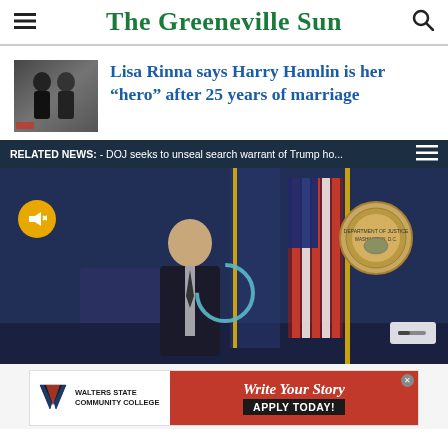The Greeneville Sun
Lisa Rinna says Harry Hamlin is her “hero” after 25 years of marriage
[Figure (screenshot): Related news video player showing DOJ press conference with text: RELATED NEWS: - DOJ seeks to unseal search warrant of Trump ho... A man in a suit stands near a Department of Justice seal and American flag. A mute button and loading spinner are visible.]
[Figure (photo): Walters State Community College advertisement banner reading: Write Your Story - APPLY TODAY!]